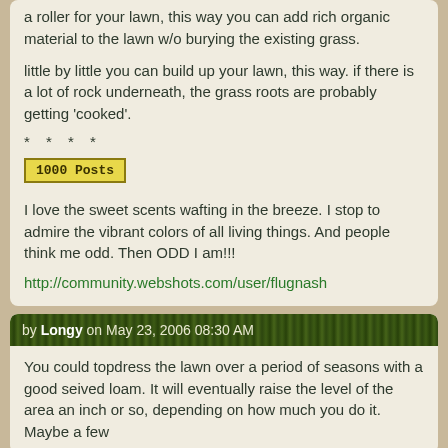a roller for your lawn, this way you can add rich organic material to the lawn w/o burying the existing grass.
little by little you can build up your lawn, this way. if there is a lot of rock underneath, the grass roots are probably getting 'cooked'.
* * * *
[Figure (other): 1000 Posts badge/label in yellow box with dark border]
I love the sweet scents wafting in the breeze. I stop to admire the vibrant colors of all living things. And people think me odd. Then ODD I am!!!
http://community.webshots.com/user/flugnash
by Longy on May 23, 2006 08:30 AM
You could topdress the lawn over a period of seasons with a good seived loam. It will eventually raise the level of the area an inch or so, depending on how much you do it. Maybe a few